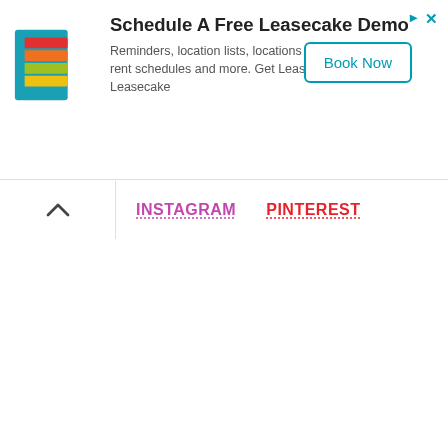[Figure (logo): Leasecake app logo — stylized building icon with teal, red, orange, green, and yellow colored horizontal bands]
Schedule A Free Leasecake Demo
Reminders, location lists, locations map, details, rent schedules and more. Get Leasecake. Leasecake
Book Now
INSTAGRAM   PINTEREST